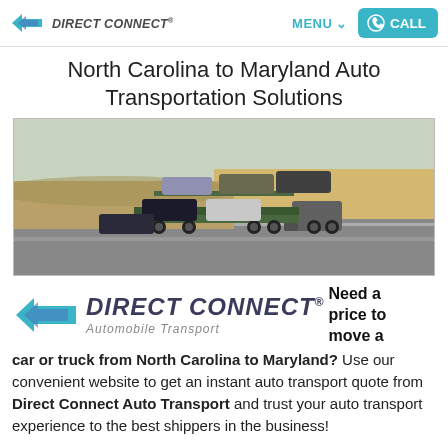DIRECT CONNECT® | MENU | CALL
North Carolina to Maryland Auto Transportation Solutions
[Figure (photo): A car transport truck loaded with multiple vehicles driving on a highway through flat, dry terrain.]
[Figure (logo): Direct Connect Automobile Transport logo — large version with DC shield icon and italic text]
Need a price to move a car or truck from North Carolina to Maryland? Use our convenient website to get an instant auto transport quote from Direct Connect Auto Transport and trust your auto transport experience to the best shippers in the business!